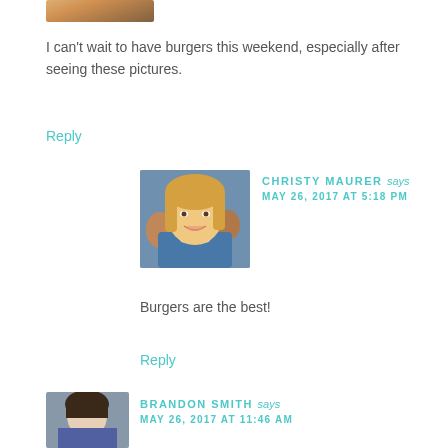[Figure (photo): Cropped top portion of a person's avatar photo]
I can't wait to have burgers this weekend, especially after seeing these pictures.
Reply
[Figure (photo): Profile photo of Christy Maurer, a blonde woman smiling, indoors]
CHRISTY MAURER says
MAY 26, 2017 AT 5:18 PM
Burgers are the best!
Reply
[Figure (photo): Cropped profile photo of Brandon Smith]
BRANDON SMITH says
MAY 26, 2017 AT 11:46 AM